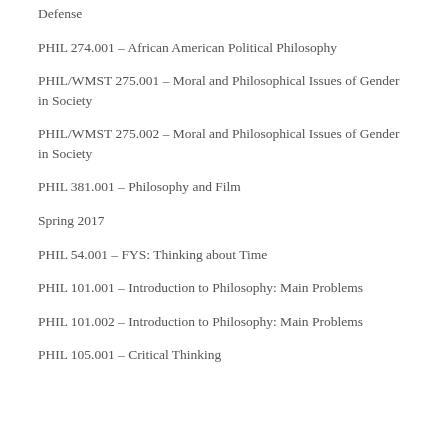Defense
PHIL 274.001 – African American Political Philosophy
PHIL/WMST 275.001 – Moral and Philosophical Issues of Gender in Society
PHIL/WMST 275.002 – Moral and Philosophical Issues of Gender in Society
PHIL 381.001 – Philosophy and Film
Spring 2017
PHIL 54.001 – FYS: Thinking about Time
PHIL 101.001 – Introduction to Philosophy: Main Problems
PHIL 101.002 – Introduction to Philosophy: Main Problems
PHIL 105.001 – Critical Thinking